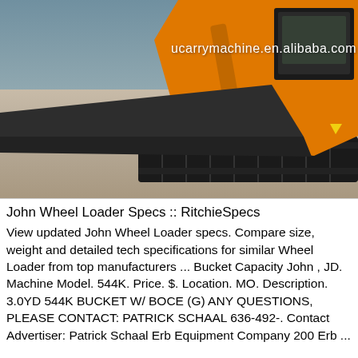[Figure (photo): Photo of an orange mini excavator with a black dozer blade attachment, parked on a concrete surface. The machine shows tracks and orange cab. A watermark reads 'ucarrymachine.en.alibaba.com' in white text.]
John Wheel Loader Specs :: RitchieSpecs
View updated John Wheel Loader specs. Compare size, weight and detailed tech specifications for similar Wheel Loader from top manufacturers ... Bucket Capacity John , JD. Machine Model. 544K. Price. $. Location. MO. Description. 3.0YD 544K BUCKET W/ BOCE (G) ANY QUESTIONS, PLEASE CONTACT: PATRICK SCHAAL 636-492-. Contact Advertiser: Patrick Schaal Erb Equipment Company 200 Erb ...